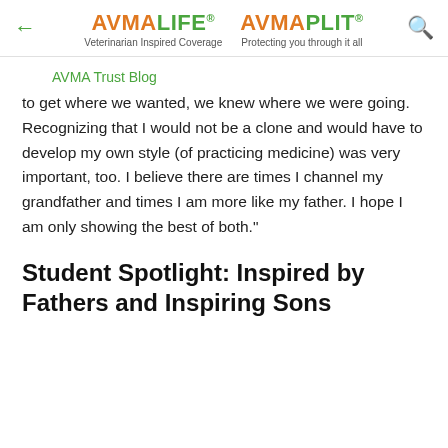AVMA LIFE® Veterinarian Inspired Coverage  AVMA PLIT® Protecting you through it all
AVMA Trust Blog
to get where we wanted, we knew where we were going. Recognizing that I would not be a clone and would have to develop my own style (of practicing medicine) was very important, too. I believe there are times I channel my grandfather and times I am more like my father. I hope I am only showing the best of both."
Student Spotlight: Inspired by Fathers and Inspiring Sons